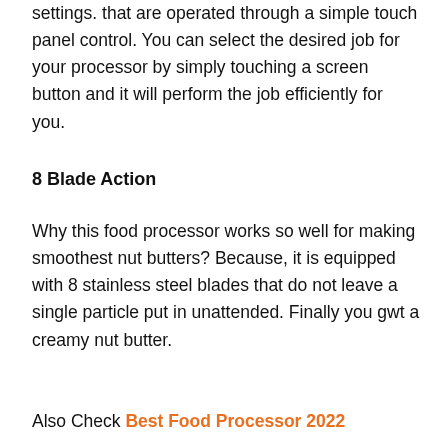settings. that are operated through a simple touch panel control. You can select the desired job for your processor by simply touching a screen button and it will perform the job efficiently for you.
8 Blade Action
Why this food processor works so well for making smoothest nut butters? Because, it is equipped with 8 stainless steel blades that do not leave a single particle put in unattended. Finally you gwt a creamy nut butter.
Also Check Best Food Processor 2022